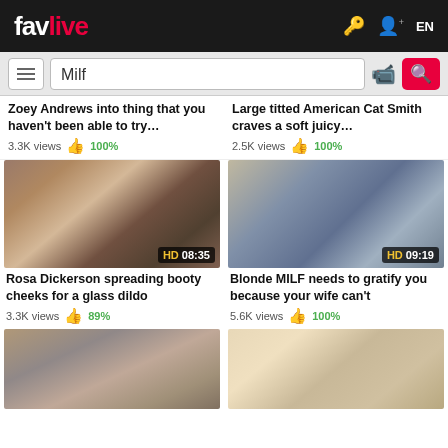favlive EN
Milf (search bar)
Zoey Andrews into thing that you haven't been able to try... 3.3K views 100%
Large titted American Cat Smith craves a soft juicy... 2.5K views 100%
[Figure (screenshot): Video thumbnail: blonde woman, HD 08:35]
Rosa Dickerson spreading booty cheeks for a glass dildo 3.3K views 89%
[Figure (screenshot): Video thumbnail: older blonde woman, HD 09:19]
Blonde MILF needs to gratify you because your wife can't 5.6K views 100%
[Figure (screenshot): Video thumbnail: bottom left video]
[Figure (screenshot): Video thumbnail: bottom right video with glasses]